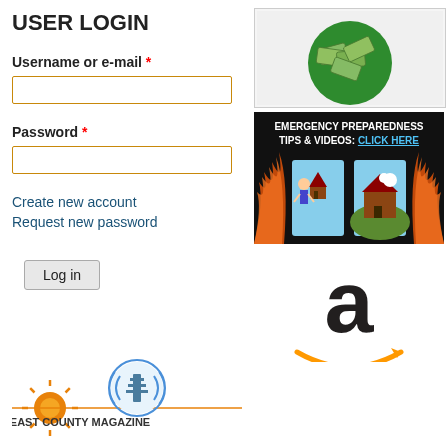USER LOGIN
Username or e-mail *
Password *
Create new account
Request new password
[Figure (screenshot): Login button]
[Figure (photo): Green globe with money/cash bills on it]
[Figure (infographic): Emergency Preparedness Tips & Videos: Click Here - dark background with fire flames and cartoon illustrations of disaster scenarios]
[Figure (logo): Amazon logo - large black letter 'a' with orange arrow smile beneath]
[Figure (logo): East County Magazine logo with sun and radio tower]